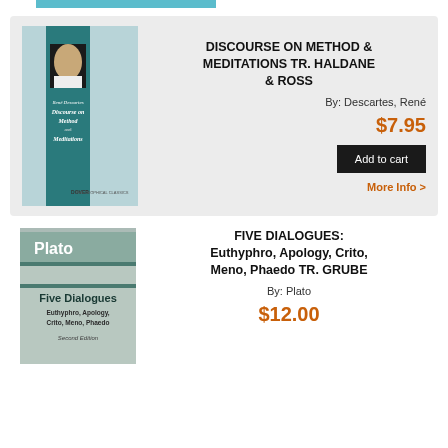[Figure (illustration): Book cover: René Descartes Discourse on Method and Meditations, Dover Philosophical Classics]
DISCOURSE ON METHOD & MEDITATIONS TR. HALDANE & ROSS
By: Descartes, René
$7.95
Add to cart
More Info >
[Figure (illustration): Book cover: Plato Five Dialogues Euthyphro, Apology, Crito, Meno, Phaedo Second Edition]
FIVE DIALOGUES: Euthyphro, Apology, Crito, Meno, Phaedo TR. GRUBE
By: Plato
$12.00